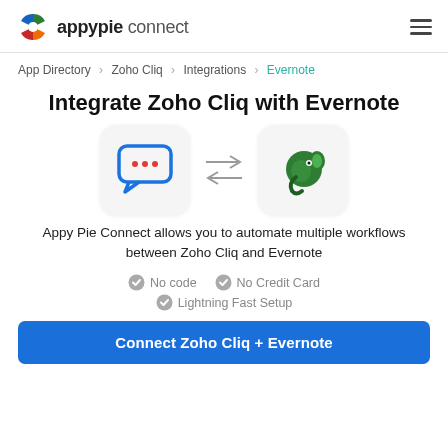appypie connect
App Directory > Zoho Cliq > Integrations > Evernote
Integrate Zoho Cliq with Evernote
[Figure (illustration): Zoho Cliq app icon (chat bubble with three dots) and Evernote app icon (green elephant head) with bidirectional arrows between them]
Appy Pie Connect allows you to automate multiple workflows between Zoho Cliq and Evernote
No code
No Credit Card
Lightning Fast Setup
Connect Zoho Cliq + Evernote